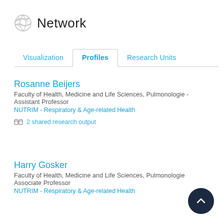Network
Visualization | Profiles | Research Units
Rosanne Beijers
Faculty of Health, Medicine and Life Sciences, Pulmonologie - Assistant Professor
NUTRIM - Respiratory & Age-related Health
2 shared research output
Harry Gosker
Faculty of Health, Medicine and Life Sciences, Pulmonologie Associate Professor
NUTRIM - Respiratory & Age-related Health